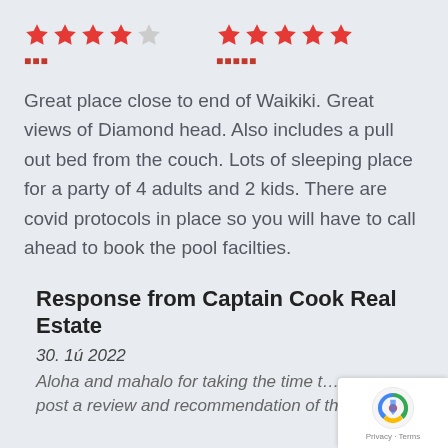[Figure (other): Two star ratings side by side: 4 out of 5 stars (red) on the left with text label, and 5 out of 5 stars (red) on the right with text label]
Great place close to end of Waikiki. Great views of Diamond head. Also includes a pull out bed from the couch. Lots of sleeping place for a party of 4 adults and 2 kids. There are covid protocols in place so you will have to call ahead to book the pool facilties.
Response from Captain Cook Real Estate
30. 1ú 2022
Aloha and mahalo for taking the time t… post a review and recommendation of this